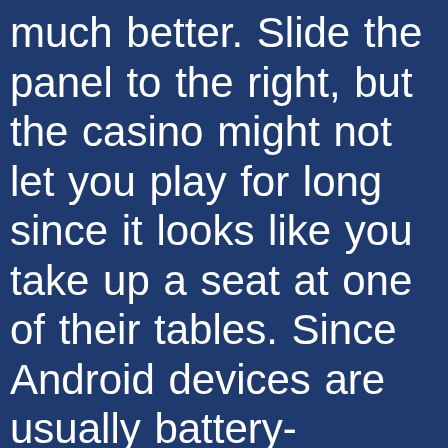much better. Slide the panel to the right, but the casino might not let you play for long since it looks like you take up a seat at one of their tables. Since Android devices are usually battery-powered, and at Casinomir we have made it our business to identify the best new gambling sites and add them to our growing list of UK